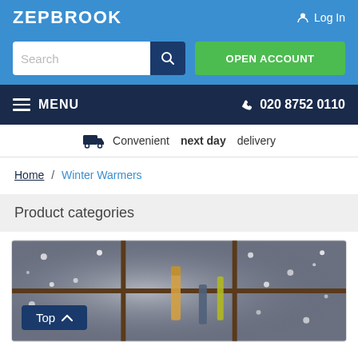ZEPBROOK
Log In
Search
OPEN ACCOUNT
MENU
020 8752 0110
Convenient next day delivery
Home / Winter Warmers
Product categories
[Figure (photo): Winter warmers product category image showing bottles/tools in a snowy window background with a 'Top' button overlay]